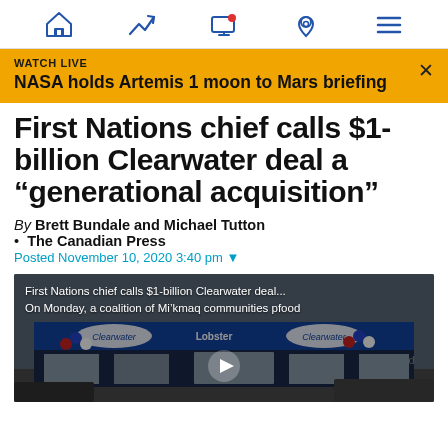Navigation bar with home, trending, screen, location, and menu icons
WATCH LIVE
NASA holds Artemis 1 moon to Mars briefing
First Nations chief calls $1-billion Clearwater deal a “generational acquisition”
By Brett Bundale and Michael Tutton
• The Canadian Press
Posted November 10, 2020 3:40 pm
[Figure (screenshot): Video thumbnail showing Clearwater Lobster store with text overlay: 'First Nations chief calls $1-billion Clearwater deal... On Monday, a coalition of Mi’kmaq communities p...' and a play button]